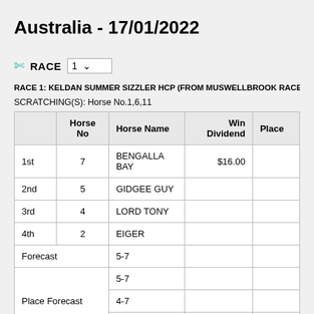Australia - 17/01/2022
RACE  1 ▾
RACE 1: KELDAN SUMMER SIZZLER HCP (FROM MUSWELLBROOK RACE 4) - 100
SCRATCHING(S): Horse No.1,6,11
|  | Horse No | Horse Name | Win Dividend | Place |
| --- | --- | --- | --- | --- |
| 1st | 7 | BENGALLA BAY | $16.00 |  |
| 2nd | 5 | GIDGEE GUY |  |  |
| 3rd | 4 | LORD TONY |  |  |
| 4th | 2 | EIGER |  |  |
| Forecast |  | 5-7 |  |  |
| Place Forecast |  | 5-7 |  |  |
| Place Forecast |  | 4-7 |  |  |
| Place Forecast |  | 4-5 |  |  |